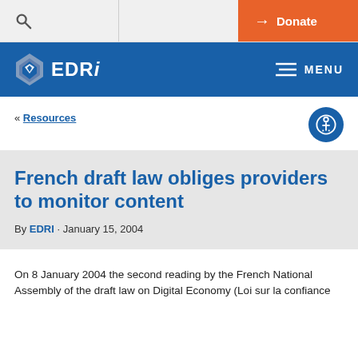[Figure (screenshot): EDRi website header with search icon, Donate button, blue navigation bar with EDRi logo and MENU, breadcrumb to Resources, accessibility button, article title and meta, and beginning of article body text.]
EDRi · MENU
« Resources
French draft law obliges providers to monitor content
By EDRI · January 15, 2004
On 8 January 2004 the second reading by the French National Assembly of the draft law on Digital Economy (Loi sur la confiance